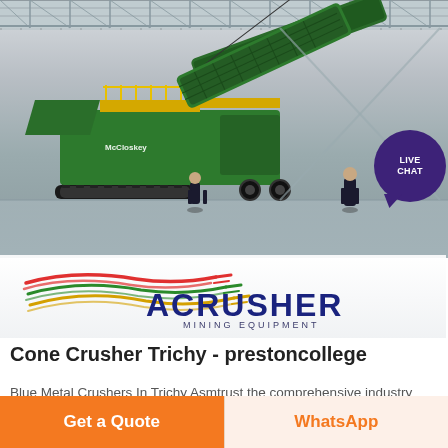[Figure (photo): A large green McCloskey mobile cone crusher/screening machine on tracks inside an industrial warehouse with high ceiling trusses. Two workers in dark clothing stand near the machine. The warehouse has a polished concrete floor.]
[Figure (logo): ACRUSHER MINING EQUIPMENT logo with colorful swoosh lines (red, green, yellow) and bold dark blue text 'ACRUSHER' with 'MINING EQUIPMENT' in smaller text below.]
Cone Crusher Trichy - prestoncollege
Blue Metal Crushers In Trichy Asmtrust the comprehensive industry document on stone crushers is latest among .. reference 1 an article on impact of crusher ...
Get a Quote
WhatsApp